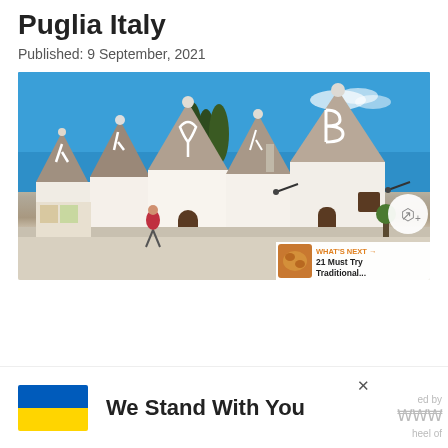Puglia Italy
Published: 9 September, 2021
[Figure (photo): Photo of traditional trulli houses in Alberobello, Puglia, Italy — whitewashed stone buildings with distinctive conical grey stone roofs painted with white symbols, blue sky background, tourists and shops visible]
WHAT'S NEXT → 21 Must Try Traditional...
[Figure (infographic): Advertisement banner: Ukrainian flag (blue and yellow) on left, bold text 'We Stand With You', close button X, partially visible watermark text 'ed by heel of']